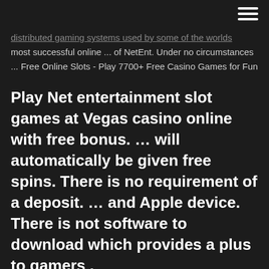☰
distributed gaming systems used by some of the worlds most successful online ... of NetEnt. Under no circumstances ... Free Online Slots - Play 7700+ Free Casino Games for Fun
Play Net entertainment slot games at Vegas casino online with free bonus. ... will automatically be given free spins. There is no requirement of a deposit. ... and Apple device. There is not software to download which provides a plus to gamers .
NetEnt Slots - Play free no deposit slots w/ bonuses! No Download Slots; Popular slots; ... NetEnt online casinos offer you thrilling and ... Play slots for free and you will be